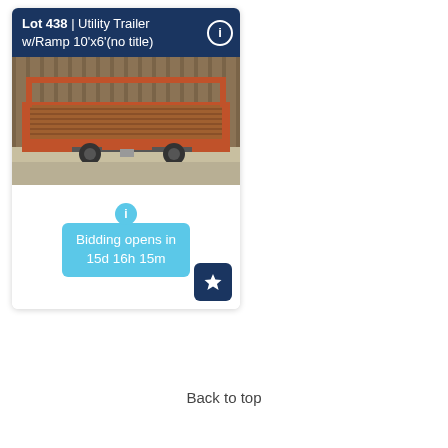Lot 438 | Utility Trailer w/Ramp 10'x6'(no title)
[Figure (photo): Orange utility trailer with ramp, parked in front of wooden boards/barn structure. Metal frame construction with wood decking.]
Bidding opens in 15d 16h 15m
Back to top